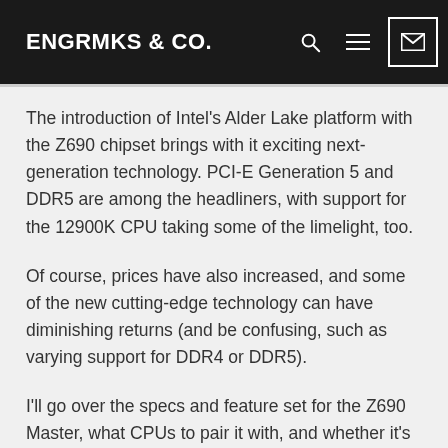ENGRMKS & CO.
The introduction of Intel's Alder Lake platform with the Z690 chipset brings with it exciting next-generation technology. PCI-E Generation 5 and DDR5 are among the headliners, with support for the 12900K CPU taking some of the limelight, too.
Of course, prices have also increased, and some of the new cutting-edge technology can have diminishing returns (and be confusing, such as varying support for DDR4 or DDR5).
I'll go over the specs and feature set for the Z690 Master, what CPUs to pair it with, and whether it's the right motherboard for you in this new high-tech environment. (Spoiler alert: It packs some